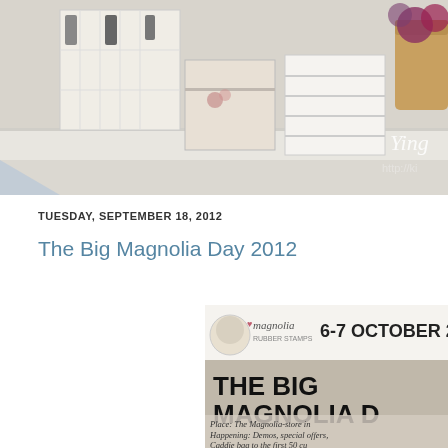[Figure (photo): Blog header photo showing decorative storage boxes and organizers with floral patterns on a white lace tablecloth, with flowers visible in the background and a cursive 'Ying' watermark and 'http://' URL partially visible on the right side.]
TUESDAY, SEPTEMBER 18, 2012
The Big Magnolia Day 2012
[Figure (photo): Promotional banner for 'The Big Magnolia Day' event showing the Magnolia Rubber Stamps logo, dates '6-7 OCTOBER 2' (cropped), large bold text 'THE BIG MAGNOLIA D' (cropped), and partial text 'Place: The Magnolia-store in', 'Happening: Demos, special offers,', 'Caddie bag to the first 50 cu' with a crowd photo background.]